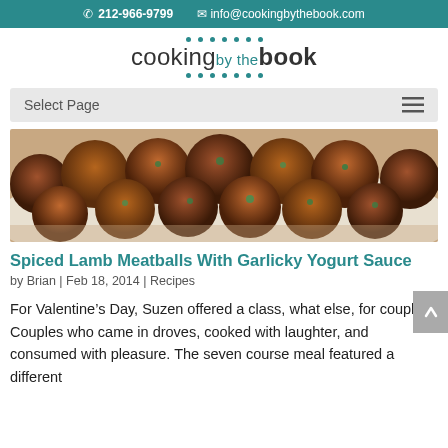☎ 212-966-9799   ✉ info@cookingbythebook.com
[Figure (logo): Cooking By The Book logo with teal dots above and below the text]
Select Page
[Figure (photo): Photo of spiced lamb meatballs garnished with chopped parsley on a white plate]
Spiced Lamb Meatballs With Garlicky Yogurt Sauce
by Brian | Feb 18, 2014 | Recipes
For Valentine's Day, Suzen offered a class, what else, for couples. Couples who came in droves, cooked with laughter, and consumed with pleasure. The seven course meal featured a different